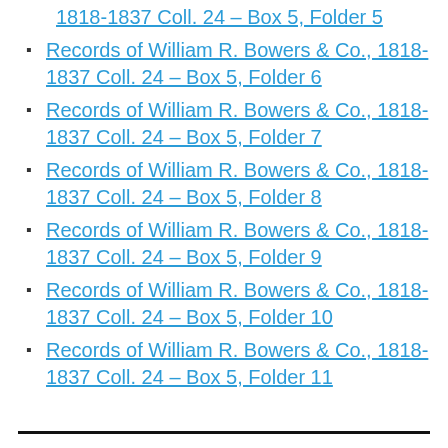Records of William R. Bowers & Co., 1818-1837 Coll. 24 – Box 5, Folder 5
Records of William R. Bowers & Co., 1818-1837 Coll. 24 – Box 5, Folder 6
Records of William R. Bowers & Co., 1818-1837 Coll. 24 – Box 5, Folder 7
Records of William R. Bowers & Co., 1818-1837 Coll. 24 – Box 5, Folder 8
Records of William R. Bowers & Co., 1818-1837 Coll. 24 – Box 5, Folder 9
Records of William R. Bowers & Co., 1818-1837 Coll. 24 – Box 5, Folder 10
Records of William R. Bowers & Co., 1818-1837 Coll. 24 – Box 5, Folder 11